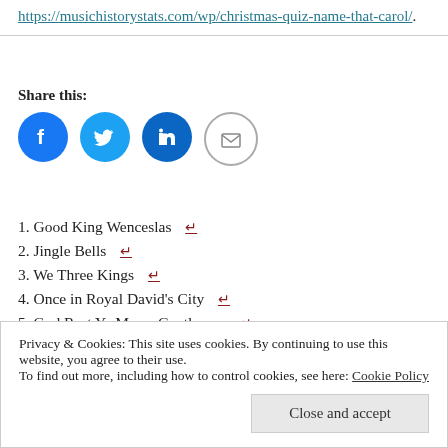https://musichistorystats.com/wp/christmas-quiz-name-that-carol/.
Share this:
[Figure (other): Four social share icon buttons: Facebook (blue circle), Twitter (blue circle), LinkedIn (blue circle), Email (grey circle with envelope)]
1. Good King Wenceslas ↵
2. Jingle Bells ↵
3. We Three Kings ↵
4. Once in Royal David's City ↵
5. God Rest Ye Merry Gentlemen ↵
6. While Shepherds Watched ↵
7. Hark the Herald Angels Sing ↵
8. O Little Town of Bethlehem ↵
Privacy & Cookies: This site uses cookies. By continuing to use this website, you agree to their use. To find out more, including how to control cookies, see here: Cookie Policy
Close and accept